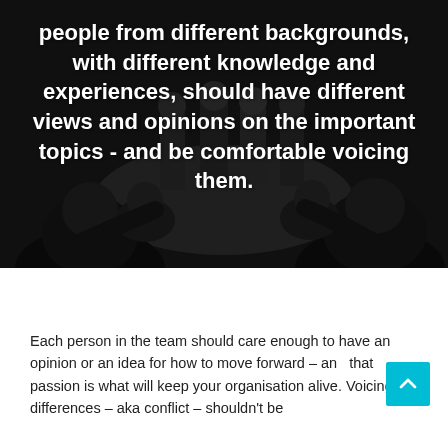[Figure (photo): Black and white photo of a group of people sitting in a circle having a discussion or meeting, viewed from above/behind. Dark overlay. White bold text overlaid on the image.]
people from different backgrounds, with different knowledge and experiences, should have different views and opinions on the important topics - and be comfortable voicing them.
Each person in the team should care enough to have an opinion or an idea for how to move forward – and that passion is what will keep your organisation alive. Voicing differences – aka conflict – shouldn't be